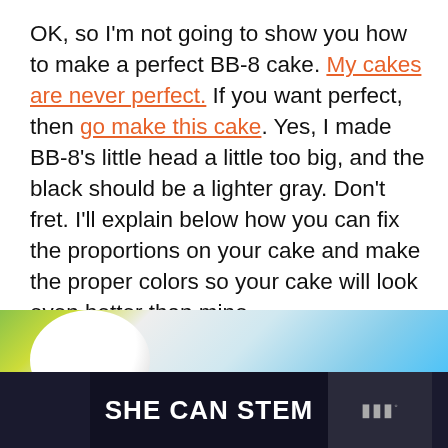OK, so I'm not going to show you how to make a perfect BB-8 cake. My cakes are never perfect. If you want perfect, then go make this cake. Yes, I made BB-8's little head a little too big, and the black should be a lighter gray. Don't fret. I'll explain below how you can fix the proportions on your cake and make the proper colors so your cake will look even better than mine.
[Figure (photo): A partial photo showing a white spherical cake or ball at the top left and a teal/turquoise background on the right. Below the photo is a dark banner with 'SHE CAN STEM' text in bold white capitals, and a logo with dots on the right side.]